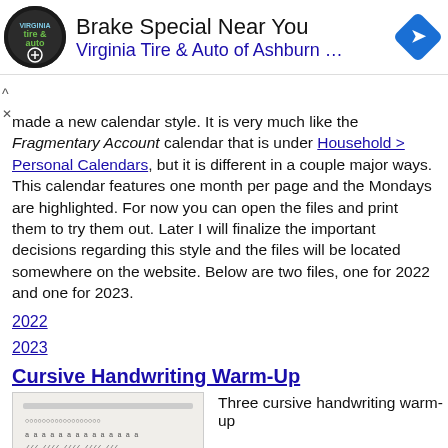[Figure (screenshot): Advertisement banner for Virginia Tire & Auto of Ashburn featuring logo, text, and a blue diamond navigation icon]
made a new calendar style. It is very much like the Fragmentary Account calendar that is under Household > Personal Calendars, but it is different in a couple major ways. This calendar features one month per page and the Mondays are highlighted. For now you can open the files and print them to try them out. Later I will finalize the important decisions regarding this style and the files will be located somewhere on the website. Below are two files, one for 2022 and one for 2023.
2022
2023
Cursive Handwriting Warm-Up
[Figure (photo): Thumbnail image of cursive handwriting warm-up worksheet with label 'Cursive Warm-up']
Three cursive handwriting warm-up